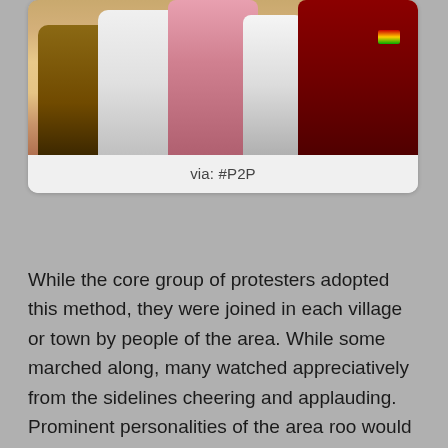[Figure (photo): Group of people photographed together, one wearing a pink shirt viewed from behind, others in white and dark red/maroon clothing. A small flag badge visible on the rightmost person's shirt.]
via: #P2P
While the core group of protesters adopted this method, they were joined in each village or town by people of the area. While some marched along, many watched appreciatively from the sidelines cheering and applauding. Prominent personalities of the area roo would identify with the protest. All this was done spontaneously without pre-arrangement. While a fixed number of protesters in their hundreds were marching at all times, the crowds participating in the protest topped thousand at different venues. Altogether several thousands joined the protest at different places.
Since certain individuals had been banned from